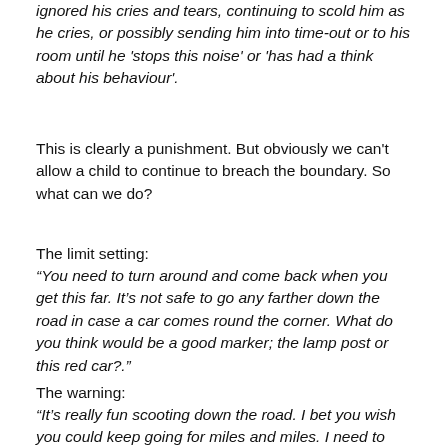ignored his cries and tears, continuing to scold him as he cries, or possibly sending him into time-out or to his room until he 'stops this noise' or 'has had a think about his behaviour'.
This is clearly a punishment. But obviously we can't allow a child to continue to breach the boundary. So what can we do?
The limit setting:
“You need to turn around and come back when you get this far. It’s not safe to go any farther down the road in case a car comes round the corner. What do you think would be a good marker; the lamp post or this red car?.”
The warning:
“It’s really fun scooting down the road. I bet you wish you could keep going for miles and miles. I need to keep you safe, so you must turn round at the lamp post like wo